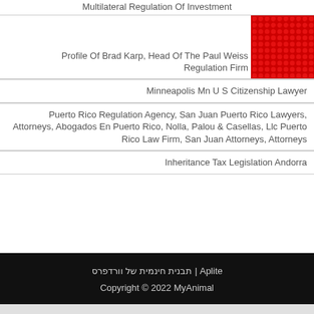Multilateral Regulation Of Investment
Profile Of Brad Karp, Head Of The Paul Weiss Regulation Firm
Minneapolis Mn U S Citizenship Lawyer
Puerto Rico Regulation Agency, San Juan Puerto Rico Lawyers, Attorneys, Abogados En Puerto Rico, Nolla, Palou & Casellas, Llc Puerto Rico Law Firm, San Juan Attorneys, Attorneys
Inheritance Tax Legislation Andorra
תבנית חינמית של וורדפרס | Aplite
Copyright © 2022 MyAnimal